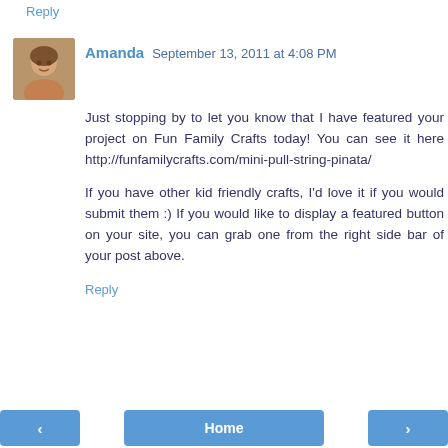Reply
Amanda  September 13, 2011 at 4:08 PM
Just stopping by to let you know that I have featured your project on Fun Family Crafts today! You can see it here http://funfamilycrafts.com/mini-pull-string-pinata/

If you have other kid friendly crafts, I'd love it if you would submit them :) If you would like to display a featured button on your site, you can grab one from the right side bar of your post above.
Reply
‹  Home  ›